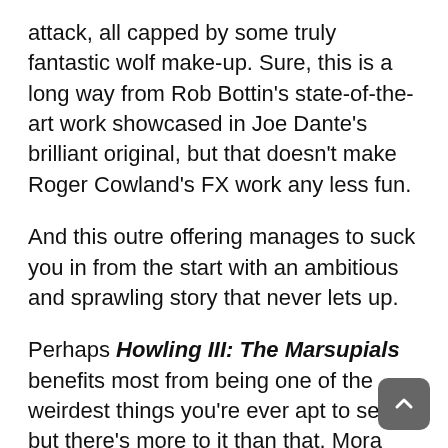attack, all capped by some truly fantastic wolf make-up. Sure, this is a long way from Rob Bottin's state-of-the-art work showcased in Joe Dante's brilliant original, but that doesn't make Roger Cowland's FX work any less fun.
And this outre offering manages to suck you in from the start with an ambitious and sprawling story that never lets up.
Perhaps Howling III: The Marsupials benefits most from being one of the weirdest things you're ever apt to see, but there's more to it than that. Mora assembles a relatively unknown cast consisting of very agreeable performers. The blooming romances